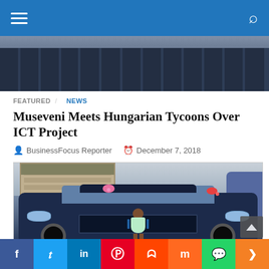Navigation bar with hamburger menu and search icon
[Figure (photo): Partial photo showing lower bodies of people in dark suits standing in a row]
FEATURED  NEWS
Museveni Meets Hungarian Tycoons Over ICT Project
BusinessFocus Reporter  December 7, 2018
[Figure (photo): Young girl in a light green dress standing in front of a large dark blue Maserati SUV decorated with pink and red bows, in a driveway with a garage in the background]
Social share bar: f  t  in  p  reddit  mix  whatsapp  share